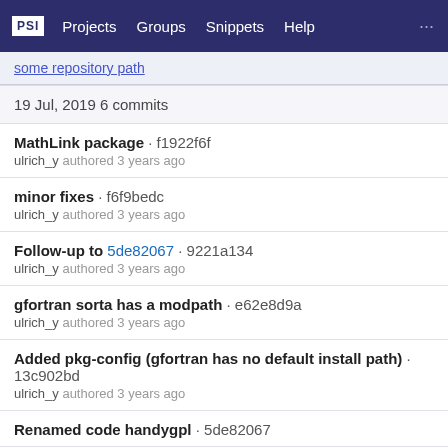PSI  Projects  Groups  Snippets  Help  ...
19 Jul, 2019 6 commits
MathLink package · f1922f6f
ulrich_y authored 3 years ago
minor fixes · f6f9bedc
ulrich_y authored 3 years ago
Follow-up to 5de82067 · 9221a134
ulrich_y authored 3 years ago
gfortran sorta has a modpath · e62e8d9a
ulrich_y authored 3 years ago
Added pkg-config (gfortran has no default install path) · 13c902bd
ulrich_y authored 3 years ago
Renamed code handygpl · 5de82067